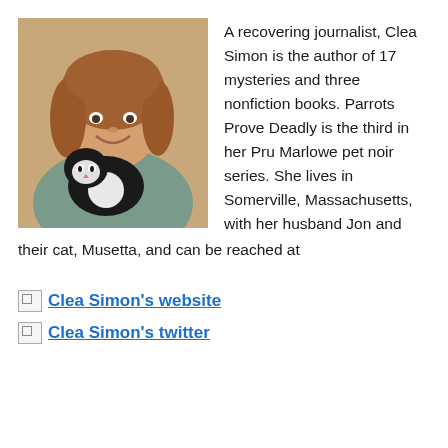[Figure (photo): Photo of Clea Simon, a woman with wavy brown hair, smiling, holding a black and white cat]
A recovering journalist, Clea Simon is the author of 17 mysteries and three nonfiction books. Parrots Prove Deadly is the third in her Pru Marlowe pet noir series. She lives in Somerville, Massachusetts, with her husband Jon and their cat, Musetta, and can be reached at
Clea Simon's website
Clea Simon's twitter